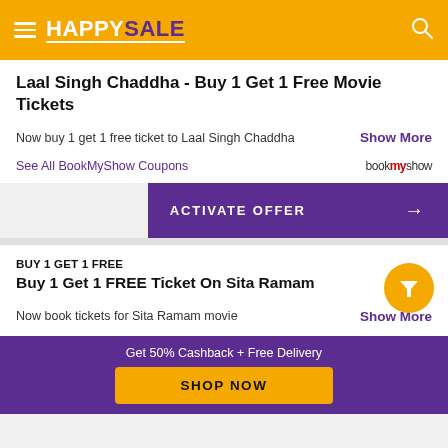HAPPYSALE
Laal Singh Chaddha - Buy 1 Get 1 Free Movie Tickets
Now buy 1 get 1 free ticket to Laal Singh Chaddha
Show More
See All BookMyShow Coupons
ACTIVATE OFFER
BUY 1 GET 1 FREE
Buy 1 Get 1 FREE Ticket On Sita Ramam
Now book tickets for Sita Ramam movie
Show More
Get 50% Cashback + Free Delivery
SHOP NOW